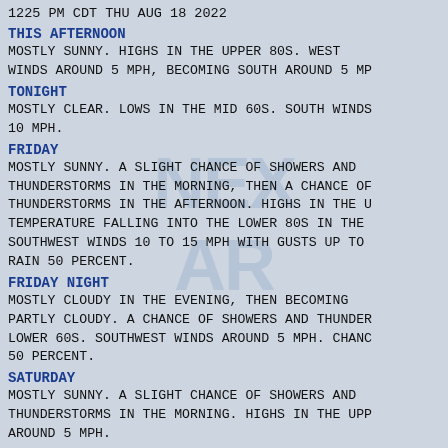1225 PM CDT THU AUG 18 2022
THIS AFTERNOON
MOSTLY SUNNY. HIGHS IN THE UPPER 80S. WEST WINDS AROUND 5 MPH, BECOMING SOUTH AROUND 5 MP
TONIGHT
MOSTLY CLEAR. LOWS IN THE MID 60S. SOUTH WINDS 10 MPH.
FRIDAY
MOSTLY SUNNY. A SLIGHT CHANCE OF SHOWERS AND THUNDERSTORMS IN THE MORNING, THEN A CHANCE OF THUNDERSTORMS IN THE AFTERNOON. HIGHS IN THE U TEMPERATURE FALLING INTO THE LOWER 80S IN THE SOUTHWEST WINDS 10 TO 15 MPH WITH GUSTS UP TO RAIN 50 PERCENT.
FRIDAY NIGHT
MOSTLY CLOUDY IN THE EVENING, THEN BECOMING PARTLY CLOUDY. A CHANCE OF SHOWERS AND THUNDER LOWER 60S. SOUTHWEST WINDS AROUND 5 MPH. CHANC 50 PERCENT.
SATURDAY
MOSTLY SUNNY. A SLIGHT CHANCE OF SHOWERS AND THUNDERSTORMS IN THE MORNING. HIGHS IN THE UPP AROUND 5 MPH.
SATURDAY NIGHT
PARTLY CLOUDY. A SLIGHT CHANCE OF SHOWERS AND